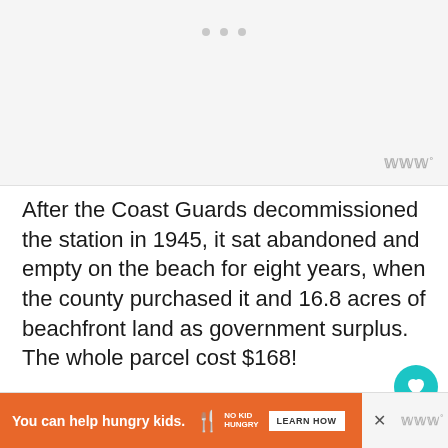[Figure (photo): Gray placeholder image area with three small gray dots at top center, and a Wattpad logo watermark at bottom right.]
After the Coast Guards decommissioned the station in 1945, it sat abandoned and empty on the beach for eight years, when the county purchased it and 16.8 acres of beachfront land as government surplus. The whole parcel cost $168!
[Figure (photo): Dark teal/blue photograph showing a mountainous or coastal landscape with dark silhouettes at bottom.]
You can help hungry kids. NO KID HUNGRY LEARN HOW